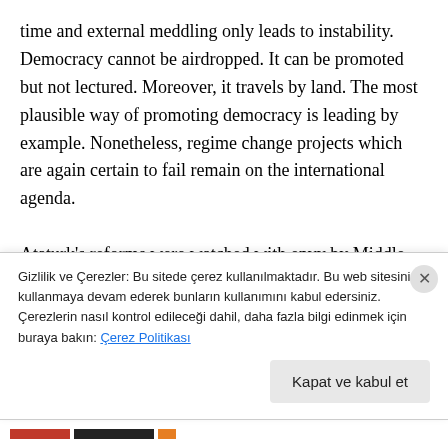time and external meddling only leads to instability. Democracy cannot be airdropped. It can be promoted but not lectured. Moreover, it travels by land. The most plausible way of promoting democracy is leading by example. Nonetheless, regime change projects which are again certain to fail remain on the international agenda.

Ataturk's reforms were watched with envy by Middle East peoples because they represented an extraordinary effort from within the region. EU's December 17, 2004 Brussels summit was followed by nearly two hundred media
Gizlilik ve Çerezler: Bu sitede çerez kullanılmaktadır. Bu web sitesini kullanmaya devam ederek bunların kullanımını kabul edersiniz. Çerezlerin nasıl kontrol edileceği dahil, daha fazla bilgi edinmek için buraya bakın: Çerez Politikası
Kapat ve kabul et